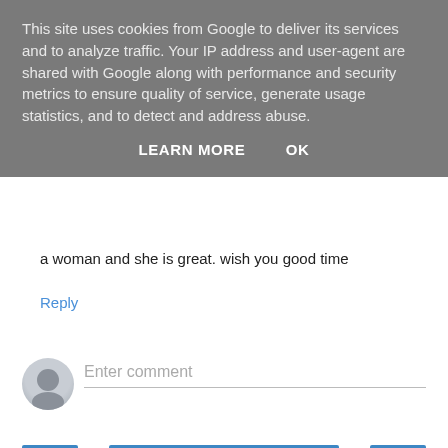This site uses cookies from Google to deliver its services and to analyze traffic. Your IP address and user-agent are shared with Google along with performance and security metrics to ensure quality of service, generate usage statistics, and to detect and address abuse.
LEARN MORE   OK
a woman and she is great. wish you good time
Reply
Enter comment
Home
View web version
Powered by Blogger.